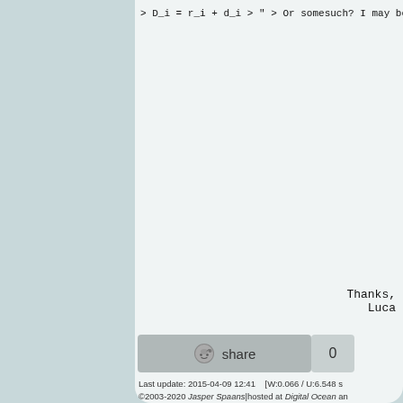>        D_i = r_i + d_i
> "
> Or somesuch? I may be overdoing th
This is not the point I wanted to ma
have been previously defined in the
The difference between SCHED_DEADLIN
"absolute vs relative". The differen
"real" tasks' deadlines, so it uses
according to the CBS rules (describe
Now, if a task is developed accordin
before the end of the job) and the S
(runtime >= WCET, period <= P) then
deadlines coincides, so it is possib
constraints.
This is the tricky (and confusing :)
I'll see if I can reword this paragr
Thanks,
Luca
[Figure (other): Reddit share button with count 0]
Last update: 2015-04-09 12:41    [W:0.066 / U:6.548 s
©2003-2020 Jasper Spaans|hosted at Digital Ocean an